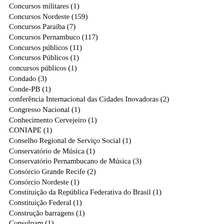Concursos militares (1)
Concursos Nordeste (159)
Concursos Paraíba (7)
Concursos Pernambuco (117)
Concursos públicos (11)
Concursos Públicos (1)
concursos públicos (1)
Condado (3)
Conde-PB (1)
conferência Internacional das Cidades Inovadoras (2)
Congresso Nacional (1)
Conhecimento Cervejeiro (1)
CONIAPE (1)
Conselho Regional de Serviço Social (1)
Conservatório de Música (1)
Conservatório Pernambucano de Música (3)
Consórcio Grande Recife (2)
Consórcio Nordeste (1)
Constituição da República Federativa do Brasil (1)
Constituição Federal (1)
Construção barragens (1)
Consulpam (1)
Contenção Costeira (1)